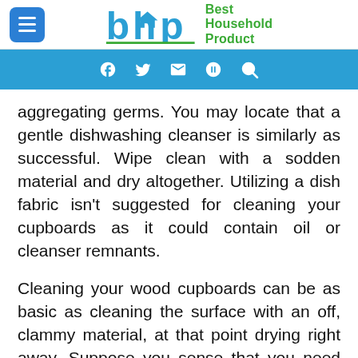[Figure (logo): Best Household Product (BHP) logo with blue hamburger menu button and green/blue BHP wordmark with house icon]
f ✉ ⊕ 🔍 (social/share icons navigation bar in blue)
aggregating germs. You may locate that a gentle dishwashing cleanser is similarly as successful. Wipe clean with a sodden material and dry altogether. Utilizing a dish fabric isn't suggested for cleaning your cupboards as it could contain oil or cleanser remnants.
Cleaning your wood cupboards can be as basic as cleaning the surface with an off, clammy material, at that point drying right away. Suppose you sense that you need something other than water to slice each time soil and oil, an item, for example. In that case,